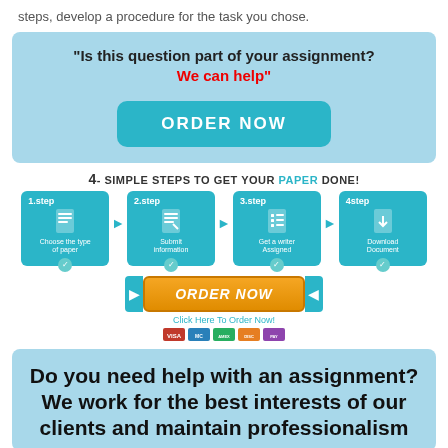steps, develop a procedure for the task you chose.
[Figure (infographic): Light blue box with bold text: 'Is this question part of your assignment? We can help' in red, and a teal ORDER NOW button]
[Figure (infographic): 4-Simple Steps to get your PAPER DONE infographic with 4 teal step blocks (1.step Choose the type of paper, 2.step Submit information, 3.step Get a writer Assigned, 4step Download Document) connected by arrows, with an orange ORDER NOW button and payment icons below]
[Figure (infographic): Light blue box with bold black text: Do you need help with an assignment? We work for the best interests of our clients and maintain professionalism]